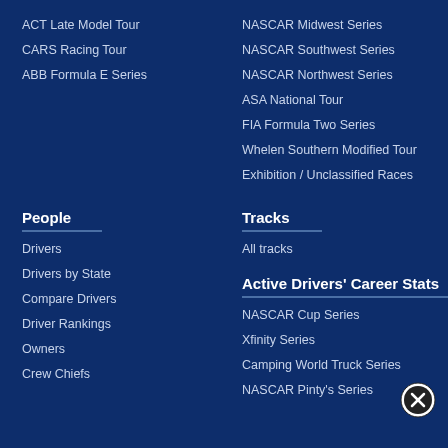ACT Late Model Tour
CARS Racing Tour
ABB Formula E Series
NASCAR Midwest Series
NASCAR Southwest Series
NASCAR Northwest Series
ASA National Tour
FIA Formula Two Series
Whelen Southern Modified Tour
Exhibition / Unclassified Races
People
Drivers
Drivers by State
Compare Drivers
Driver Rankings
Owners
Crew Chiefs
Tracks
All tracks
Active Drivers' Career Stats
NASCAR Cup Series
Xfinity Series
Camping World Truck Series
NASCAR Pinty's Series